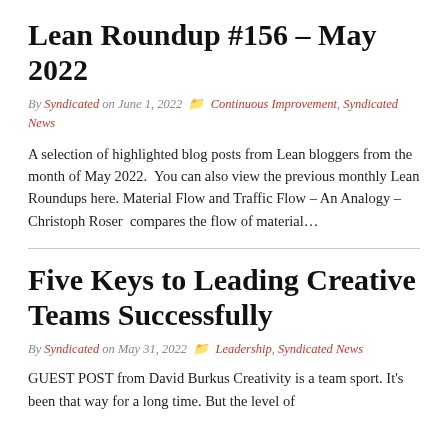Lean Roundup #156 – May 2022
By Syndicated on June 1, 2022   Continuous Improvement, Syndicated News
A selection of highlighted blog posts from Lean bloggers from the month of May 2022.  You can also view the previous monthly Lean Roundups here. Material Flow and Traffic Flow – An Analogy – Christoph Roser  compares the flow of material…
Five Keys to Leading Creative Teams Successfully
By Syndicated on May 31, 2022   Leadership, Syndicated News
GUEST POST from David Burkus Creativity is a team sport. It's been that way for a long time. But the level of